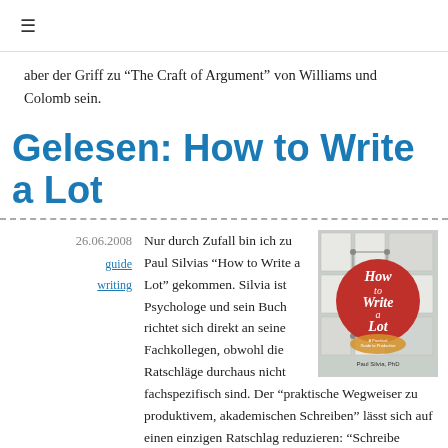≡
aber der Griff zu "The Craft of Argument" von Williams und Colomb sein.
Gelesen: How to Write a Lot
26.06.2008  guide  writing
Nur durch Zufall bin ich zu Paul Silvias "How to Write a Lot" gekommen. Silvia ist Psychologe und sein Buch richtet sich direkt an seine Fachkollegen, obwohl die Ratschläge durchaus nicht fachspezifisch sind. Der "praktische Wegweiser zu produktivem, akademischen Schreiben" lässt sich auf einen einzigen Ratschlag reduzieren: "Schreibe regelmässig zu festen, eigens hierfür reservierten Zeiten". Zur Unterfütterung nennt Silvia noch einige Strategien, die das anfängliche Durchhalten eines regelmässigen Schreibtermins erleichtern und einige Strategien zur Organisation des
[Figure (photo): Book cover of 'How to Write a Lot' by Paul Silvia PhD, showing a red circle on a patterned background with the subtitle 'A Practical Guide to Productive Academic Writing']